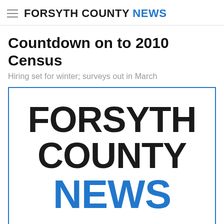FORSYTH COUNTY NEWS
Countdown on to 2010 Census
Hiring set for winter; surveys out in March
[Figure (logo): Forsyth County News logo — bold black stacked text 'FORSYTH COUNTY' with blue 'NEWS' below, inside a blue-bordered rectangle]